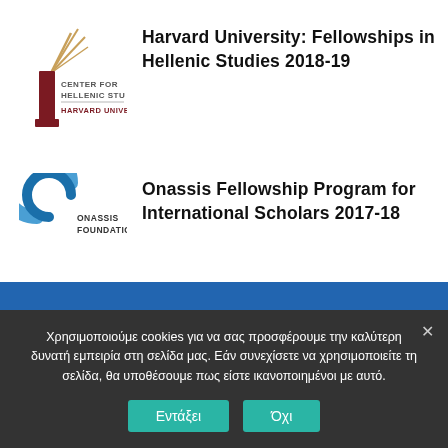[Figure (logo): Center for Hellenic Studies, Harvard University logo — dark red torch/flame icon with text CENTER FOR HELLENIC STU and HARVARD UNIVE]
Harvard University: Fellowships in Hellenic Studies 2018-19
[Figure (logo): Onassis Foundation logo — blue spiral/crescent shape with text ONASSIS FOUNDATIC]
Onassis Fellowship Program for International Scholars 2017-18
Χρησιμοποιούμε cookies για να σας προσφέρουμε την καλύτερη δυνατή εμπειρία στη σελίδα μας. Εάν συνεχίσετε να χρησιμοποιείτε τη σελίδα, θα υποθέσουμε πως είστε ικανοποιημένοι με αυτό.
Εντάξει  Όχι